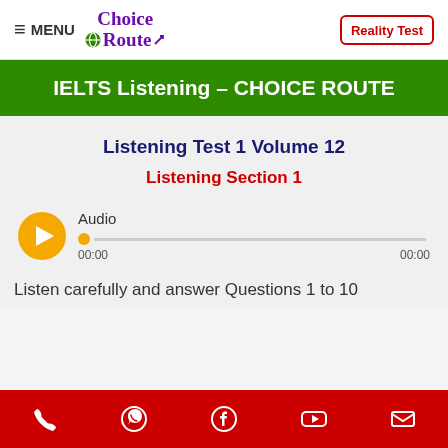≡ MENU | Choice Route | Reality Test
IELTS Listening – CHOICE ROUTE
Listening Test 1 Volume 12
Listening Section 1
[Figure (other): Audio player with orange play button, progress bar showing 00:00 / 00:00]
Listen carefully and answer Questions 1 to 10
Phone | WhatsApp | Facebook | YouTube | Email